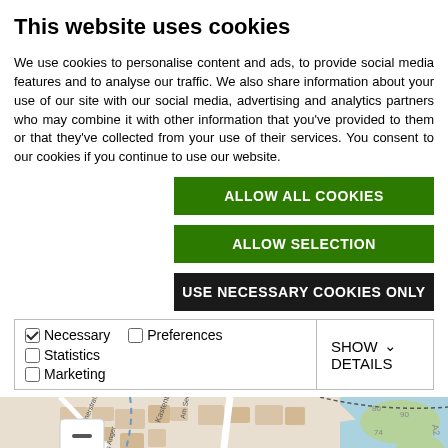This website uses cookies
We use cookies to personalise content and ads, to provide social media features and to analyse our traffic. We also share information about your use of our site with our social media, advertising and analytics partners who may combine it with other information that you've provided to them or that they've collected from your use of their services. You consent to our cookies if you continue to use our website.
ALLOW ALL COOKIES
ALLOW SELECTION
USE NECESSARY COOKIES ONLY
| Necessary | Preferences | Statistics | Marketing | SHOW DETAILS |
| --- | --- | --- | --- | --- |
[Figure (map): Street map showing Seebruck area with location pin marker, zoom controls, and a red plus button. Shows streets including Römerstraße, Traunsteiner St., Haushoferstraße, Chiemsee label, and A2 highway.]